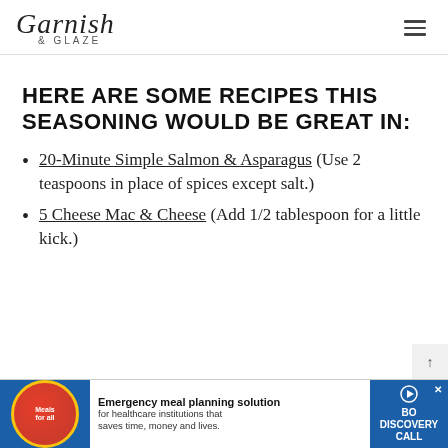Garnish & Glaze
HERE ARE SOME RECIPES THIS SEASONING WOULD BE GREAT IN:
20-Minute Simple Salmon & Asparagus (Use 2 teaspoons in place of spices except salt.)
5 Cheese Mac & Cheese (Add 1/2 tablespoon for a little kick.)
[Figure (other): Advertisement banner: Emergency meal planning solution for healthcare institutions that saves time, money and lives. Meals for all. BOOK DISCOVERY CALL.]